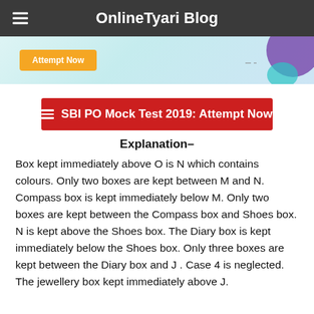OnlineTyari Blog
[Figure (screenshot): Banner with orange 'Attempt Now' button on light blue/teal background with decorative purple and teal shapes on the right]
[Figure (screenshot): Red button with hamburger icon and text: SBI PO Mock Test 2019: Attempt Now]
Explanation–
Box kept immediately above O is N which contains colours. Only two boxes are kept between M and N. Compass box is kept immediately below M. Only two boxes are kept between the Compass box and Shoes box. N is kept above the Shoes box. The Diary box is kept immediately below the Shoes box. Only three boxes are kept between the Diary box and J . Case 4 is neglected. The jewellery box kept immediately above J.